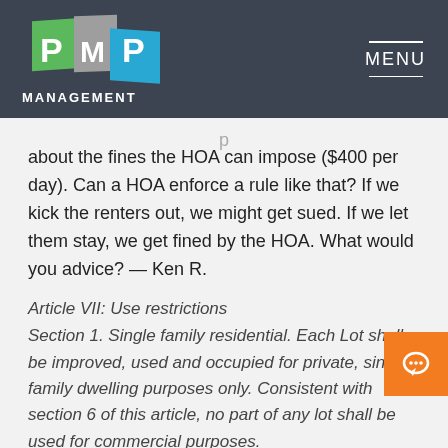[Figure (logo): PMP Management logo with colored book icon and MANAGEMENT text below]
MENU
about the fines the HOA can impose ($400 per day). Can a HOA enforce a rule like that? If we kick the renters out, we might get sued. If we let them stay, we get fined by the HOA. What would you advice? — Ken R.
Article VII: Use restrictions
Section 1. Single family residential. Each Lot shall be improved, used and occupied for private, single-family dwelling purposes only. Consistent with section 6 of this article, no part of any lot shall be used for commercial purposes.